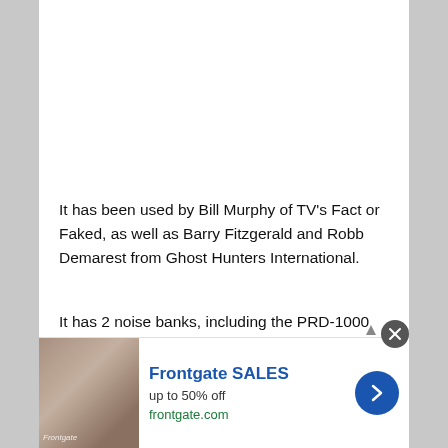It has been used by Bill Murphy of TV's Fact or Faked, as well as Barry Fitzgerald and Robb Demarest from Ghost Hunters International.
It has 2 noise banks, including the PRD-1000 ghost box from Chicago Spirit Wave, as well as the more common sound bank you may be familiar with.
[Figure (screenshot): Advertisement banner for Frontgate SALES - up to 50% off, showing outdoor furniture with fire pit, with a blue arrow button and close button]